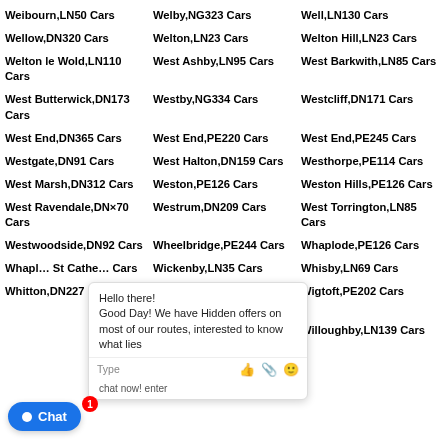Weibourn,LN50 Cars
Welby,NG323 Cars
Well,LN130 Cars
Wellow,DN320 Cars
Welton,LN23 Cars
Welton Hill,LN23 Cars
Welton le Wold,LN110 Cars
West Ashby,LN95 Cars
West Barkwith,LN85 Cars
West Butterwick,DN173 Cars
Westby,NG334 Cars
Westcliff,DN171 Cars
West End,DN365 Cars
West End,PE220 Cars
West End,PE245 Cars
Westgate,DN91 Cars
West Halton,DN159 Cars
Westhorpe,PE114 Cars
West Marsh,DN312 Cars
Weston,PE126 Cars
Weston Hills,PE126 Cars
West Ravendale,DN370 Cars
Westrum,DN209 Cars
West Torrington,LN85 Cars
Westwoodside,DN92 Cars
Whaplode,PE126 Cars
Wheelbridge,PE244 Cars
Whisby,LN69 Cars
Wickenby,LN35 Cars
Wigtoft,PE202 Cars
Willingham by Stow,DN215 Cars
Willoughby,LN139 Cars
Whaplode St Catherine Cars
Whitton,DN227 Cars